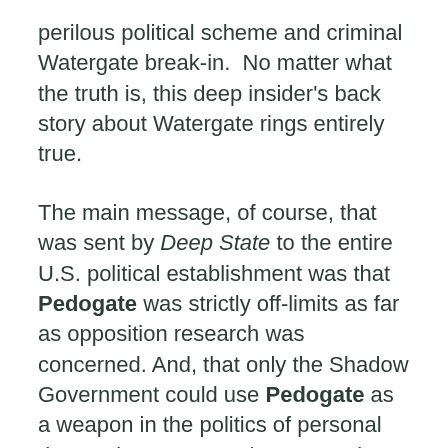perilous political scheme and criminal Watergate break-in.  No matter what the truth is, this deep insider's back story about Watergate rings entirely true.
The main message, of course, that was sent by Deep State to the entire U.S. political establishment was that Pedogate was strictly off-limits as far as opposition research was concerned. And, that only the Shadow Government could use Pedogate as a weapon in the politics of personal destruction. Anyone else attempting to would go